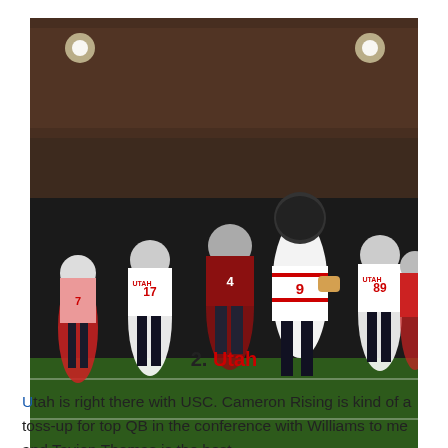[Figure (photo): Action photo of Utah football players in white and red uniforms running on a football field at night. Player #9 (Tavion Thomas) runs with the ball, with teammates including #17, #7, #89, #4 visible around him. Opposing team players in dark red uniforms also visible.]
Tavion Thomas | Stan Szeto/USA TODAY Sports
2. Utah
Utah is right there with USC. Cameron Rising is kind of a toss-up for top QB in the conference with Williams to me and Tavion Thomas is the best